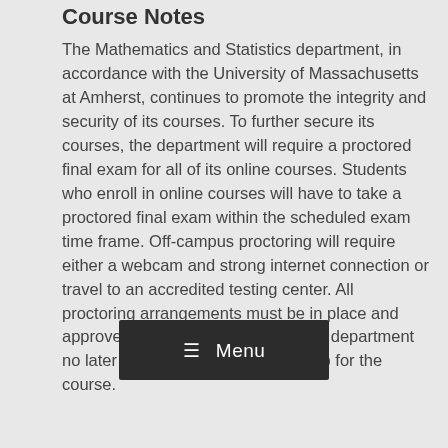Course Notes
The Mathematics and Statistics department, in accordance with the University of Massachusetts at Amherst, continues to promote the integrity and security of its courses. To further secure its courses, the department will require a proctored final exam for all of its online courses. Students who enroll in online courses will have to take a proctored final exam within the scheduled exam time frame. Off-campus proctoring will require either a webcam and strong internet connection or travel to an accredited testing center. All proctoring arrangements must be in place and approved by the instructor and math department no later than the last day of add/drop for the course.